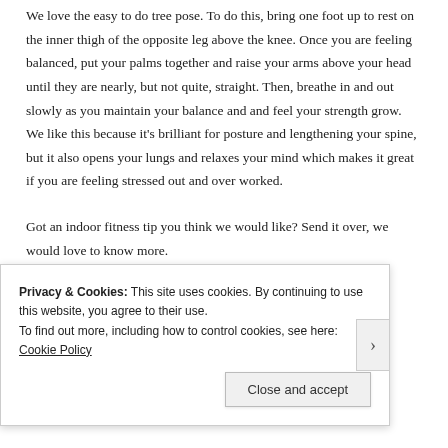We love the easy to do tree pose. To do this, bring one foot up to rest on the inner thigh of the opposite leg above the knee. Once you are feeling balanced, put your palms together and raise your arms above your head until they are nearly, but not quite, straight. Then, breathe in and out slowly as you maintain your balance and and feel your strength grow. We like this because it’s brilliant for posture and lengthening your spine, but it also opens your lungs and relaxes your mind which makes it great if you are feeling stressed out and over worked.
Got an indoor fitness tip you think we would like? Send it over, we would love to know more.
Privacy & Cookies: This site uses cookies. By continuing to use this website, you agree to their use.
To find out more, including how to control cookies, see here: Cookie Policy